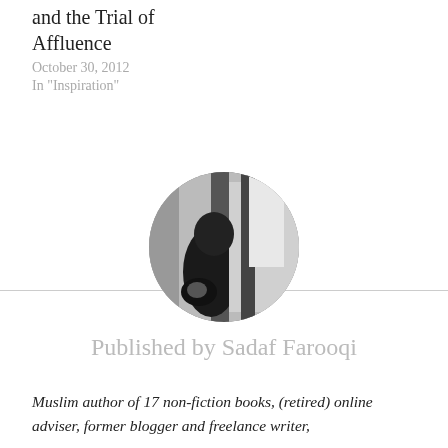and the Trial of Affluence
October 30, 2012
In "Inspiration"
[Figure (photo): Circular avatar photo showing a person in black clothing, black and white image]
Published by Sadaf Farooqi
Muslim author of 17 non-fiction books, (retired) online adviser, former blogger and freelance writer,